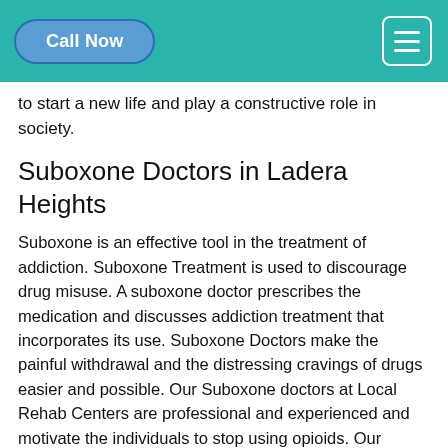Call Now
to start a new life and play a constructive role in society.
Suboxone Doctors in Ladera Heights
Suboxone is an effective tool in the treatment of addiction. Suboxone Treatment is used to discourage drug misuse. A suboxone doctor prescribes the medication and discusses addiction treatment that incorporates its use. Suboxone Doctors make the painful withdrawal and the distressing cravings of drugs easier and possible. Our Suboxone doctors at Local Rehab Centers are professional and experienced and motivate the individuals to stop using opioids. Our doctors are qualified to provide you with a